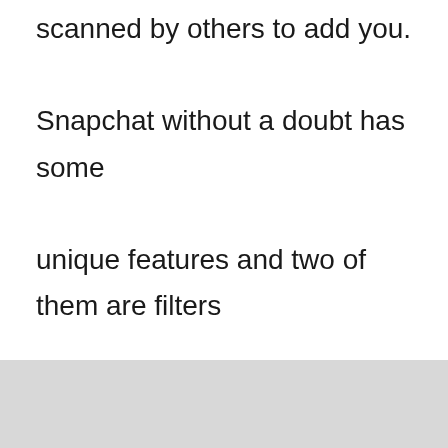scanned by others to add you. Snapchat without a doubt has some unique features and two of them are filters and lenses. People do get confused between the two. So, here's the difference, filters remain in the whole image even if the subject in front of the camera changes.